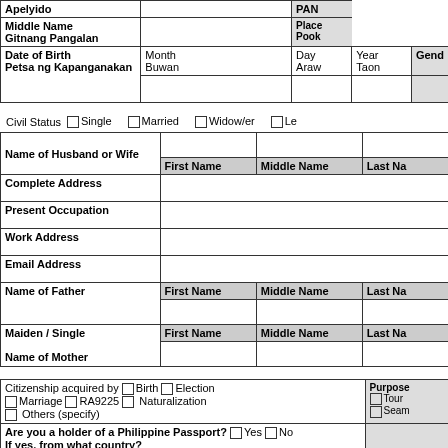| Apelyido |  | PAN... |
| --- | --- | --- |
| Middle Name / Gitnang Pangalan |  | Place / Pook... |
| Date of Birth / Petsa ng Kapanganakan | Month Buwan | Day Araw | Year Taon | Gend... |
Civil Status  □Single  □Married  □Widow/er  □Le...
| Name of Husband or Wife |  | First Name | Middle Name | Last Na... |
| Complete Address |  |
| Present Occupation |  |
| Work Address |  |
| Email Address |  |
| Name of Father | First Name | Middle Name | Last Na... |
| Maiden / Single Name of Mother | First Name | Middle Name | Last Na... |
| Citizenship acquired by □Birth □Election □Marriage □RA9225 □ Naturalization □ Others (specify) | Purpose... □Tour □Seam... |
| Are you a holder of a Philippine Passport? □Yes □No  If yes, from what country? |  |
| This serves as an AFFIDAVIT OF SUPPORT AND CONSENT TO TRAVEL (for applicants below 18 years old ONLY.) | Lost pas... Issued d... |